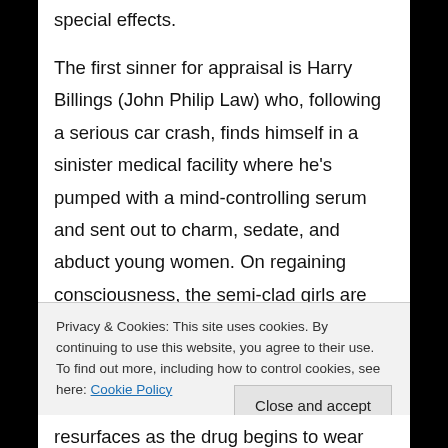special effects.
The first sinner for appraisal is Harry Billings (John Philip Law) who, following a serious car crash, finds himself in a sinister medical facility where he's pumped with a mind-controlling serum and sent out to charm, sedate, and abduct young women. On regaining consciousness, the semi-clad girls are molested and terrorised by a thuggish orderly (Richard Moll) before being eviscerated to provide stock for an international organ harvesting enterprise
Privacy & Cookies: This site uses cookies. By continuing to use this website, you agree to their use.
To find out more, including how to control cookies, see here: Cookie Policy
Close and accept
resurfaces as the drug begins to wear off.